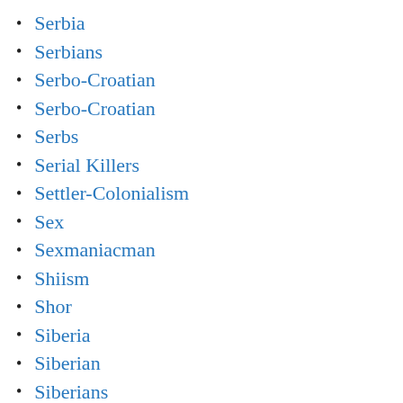Serbia
Serbians
Serbo-Croatian
Serbo-Croatian
Serbs
Serial Killers
Settler-Colonialism
Sex
Sexmaniacman
Shiism
Shor
Siberia
Siberian
Siberians
Sick
Sick and Evil